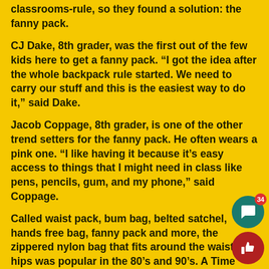classrooms-rule, so they found a solution: the fanny pack.
CJ Dake, 8th grader, was the first out of the few kids here to get a fanny pack. “I got the idea after the whole backpack rule started. We need to carry our stuff and this is the easiest way to do it,” said Dake.
Jacob Coppage, 8th grader, is one of the other trend setters for the fanny pack. He often wears a pink one. “I like having it because it’s easy access to things that I might need in class like pens, pencils, gum, and my phone,” said Coppage.
Called waist pack, bum bag, belted satchel, hands free bag, fanny pack and more, the zippered nylon bag that fits around the waist or hips was popular in the 80’s and 90’s. A Time Magazine article in 2011 pokes fun at the fanny pack hitting the Fashion Runways.